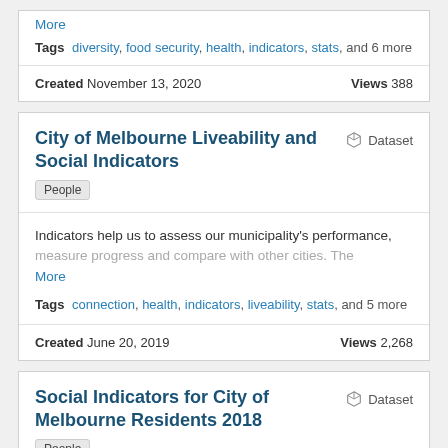More
Tags   diversity, food security, health, indicators, stats, and 6 more
Created November 13, 2020    Views 388
City of Melbourne Liveability and Social Indicators
Dataset
People
Indicators help us to assess our municipality's performance, measure progress and compare with other cities. The
More
Tags   connection, health, indicators, liveability, stats, and 5 more
Created June 20, 2019    Views 2,268
Social Indicators for City of Melbourne Residents 2018
Dataset
People